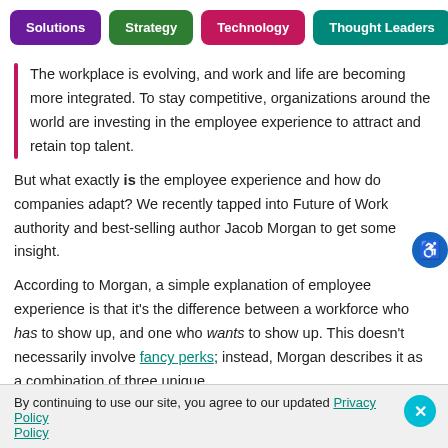Solutions | Strategy | Technology | Thought Leaders
The workplace is evolving, and work and life are becoming more integrated. To stay competitive, organizations around the world are investing in the employee experience to attract and retain top talent.
But what exactly is the employee experience and how do companies adapt? We recently tapped into Future of Work authority and best-selling author Jacob Morgan to get some insight.
According to Morgan, a simple explanation of employee experience is that it's the difference between a workforce who has to show up, and one who wants to show up. This doesn't necessarily involve fancy perks; instead, Morgan describes it as a combination of three unique
By continuing to use our site, you agree to our updated Privacy Policy